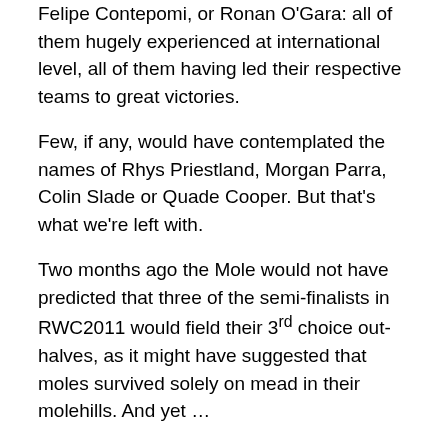Felipe Contepomi, or Ronan O'Gara: all of them hugely experienced at international level, all of them having led their respective teams to great victories.
Few, if any, would have contemplated the names of Rhys Priestland, Morgan Parra, Colin Slade or Quade Cooper. But that's what we're left with.
Two months ago the Mole would not have predicted that three of the semi-finalists in RWC2011 would field their 3rd choice out-halves, as it might have suggested that moles survived solely on mead in their molehills. And yet …
During the summer of 2011 the greatest debate in the valleys was whether Stephen Jones, having received his 100th Cap in the game against the Barbarians in June 2011, would go on to break the Welsh record of Gareth Thomas, or whether James Hook would usurp him to such